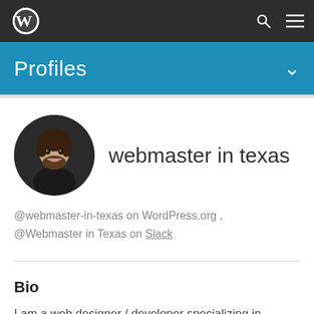WordPress navigation bar with logo, search, and menu icons
Profiles
[Figure (photo): Circular profile photo of a man with dark hair and beard, smiling, wearing a dark shirt]
webmaster in texas
@webmaster-in-texas on WordPress.org , @Webmaster in Texas on Slack
Bio
I am a web designer / developer specializing in